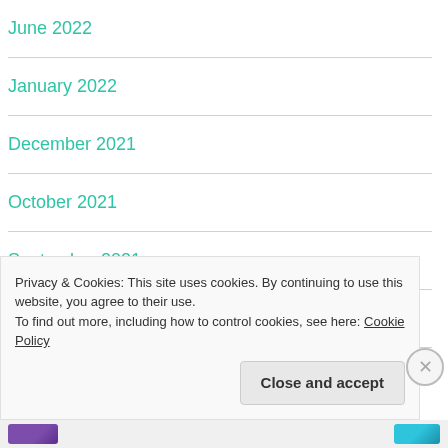June 2022
January 2022
December 2021
October 2021
September 2021
August 2021
Privacy & Cookies: This site uses cookies. By continuing to use this website, you agree to their use.
To find out more, including how to control cookies, see here: Cookie Policy